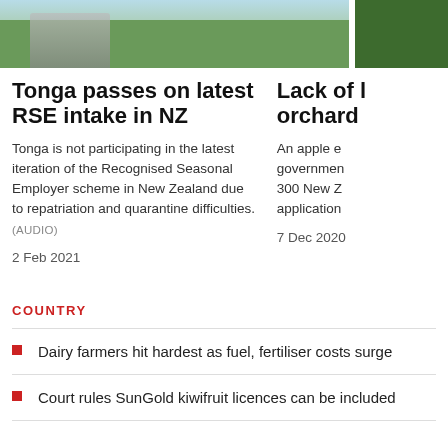[Figure (photo): Two cropped news article thumbnail photos at the top: left shows a person outdoors with green background, right shows red/green foliage]
Tonga passes on latest RSE intake in NZ
Tonga is not participating in the latest iteration of the Recognised Seasonal Employer scheme in New Zealand due to repatriation and quarantine difficulties. (AUDIO)
2 Feb 2021
Lack of h... orchard...
An apple e... governmen... 300 New Z... application...
7 Dec 2020
COUNTRY
Dairy farmers hit hardest as fuel, fertiliser costs surge
Court rules SunGold kiwifruit licences can be included